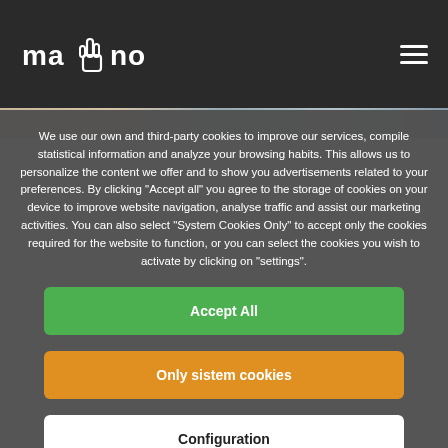[Figure (logo): Mano logo with hand icon on dark header bar]
We use our own and third-party cookies to improve our services, compile statistical information and analyze your browsing habits. This allows us to personalize the content we offer and to show you advertisements related to your preferences. By clicking "Accept all" you agree to the storage of cookies on your device to improve website navigation, analyse traffic and assist our marketing activities. You can also select "System Cookies Only" to accept only the cookies required for the website to function, or you can select the cookies you wish to activate by clicking on "settings".
Accept All
Only sistem cookies
Configuration